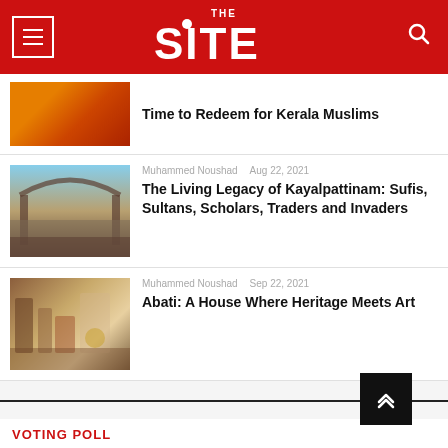THE SITE
Time to Redeem for Kerala Muslims
Muhammed Noushad   Aug 22, 2021
The Living Legacy of Kayalpattinam: Sufis, Sultans, Scholars, Traders and Invaders
Muhammed Noushad   Sep 22, 2021
Abati: A House Where Heritage Meets Art
VOTING POLL
Will Indian Economy make a recovery before the